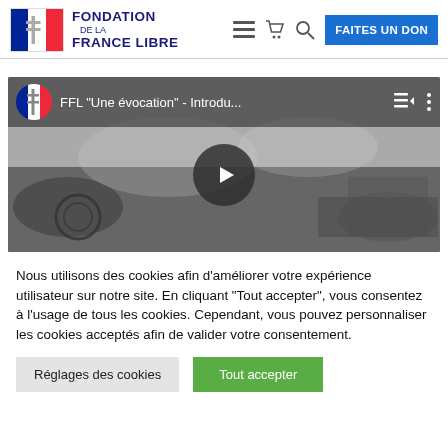[Figure (logo): Fondation de la France Libre logo with French flag and cross of Lorraine]
[Figure (screenshot): YouTube video thumbnail: FFL 'Une évocation' - Introdu... with play button overlay, wartime black and white imagery]
Nous utilisons des cookies afin d'améliorer votre expérience utilisateur sur notre site. En cliquant "Tout accepter", vous consentez à l'usage de tous les cookies. Cependant, vous pouvez personnaliser les cookies acceptés afin de valider votre consentement.
Réglages des cookies | Tout accepter